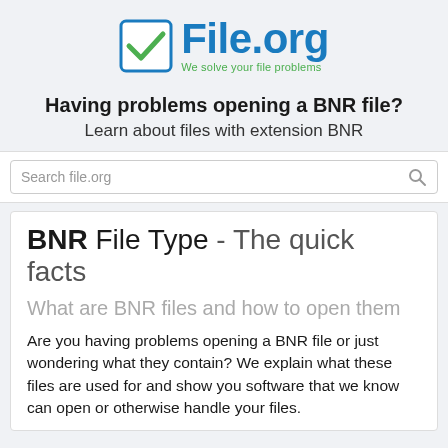[Figure (logo): File.org logo with blue checkbox icon and text 'File.org' in blue, tagline 'We solve your file problems' in green]
Having problems opening a BNR file? Learn about files with extension BNR
Search file.org
BNR File Type - The quick facts
What are BNR files and how to open them
Are you having problems opening a BNR file or just wondering what they contain? We explain what these files are used for and show you software that we know can open or otherwise handle your files.